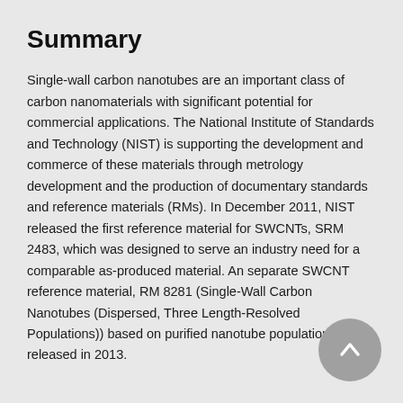Summary
Single-wall carbon nanotubes are an important class of carbon nanomaterials with significant potential for commercial applications. The National Institute of Standards and Technology (NIST) is supporting the development and commerce of these materials through metrology development and the production of documentary standards and reference materials (RMs). In December 2011, NIST released the first reference material for SWCNTs, SRM 2483, which was designed to serve an industry need for a comparable as-produced material. An separate SWCNT reference material, RM 8281 (Single-Wall Carbon Nanotubes (Dispersed, Three Length-Resolved Populations)) based on purified nanotube populations was released in 2013.